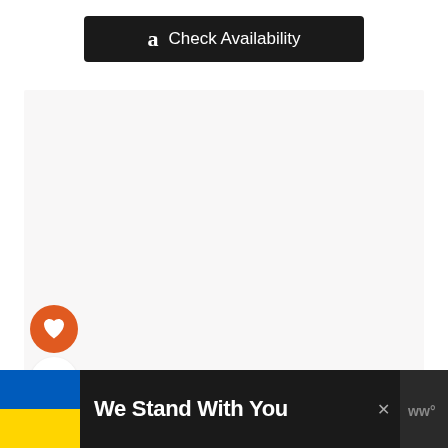[Figure (screenshot): Amazon 'Check Availability' button — black rounded rectangle with Amazon 'a' logo and white text]
[Figure (screenshot): Large light gray content placeholder area]
[Figure (infographic): Orange circular heart (like/favorite) button]
5
[Figure (infographic): White circular share button with share icon]
[Figure (screenshot): WHAT'S NEXT card with text 'Best Water Bottle Cage...' and circular thumbnail image]
[Figure (screenshot): Ad banner: Ukrainian flag, 'We Stand With You' text, close X, WW logo on dark background]